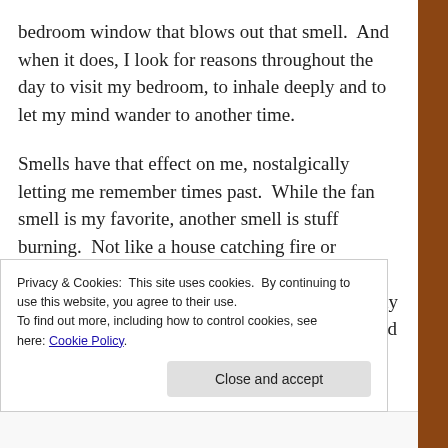bedroom window that blows out that smell.  And when it does, I look for reasons throughout the day to visit my bedroom, to inhale deeply and to let my mind wander to another time.
Smells have that effect on me, nostalgically letting me remember times past.  While the fan smell is my favorite, another smell is stuff burning.  Not like a house catching fire or anything, but rather a pit-beef joint cooking or a log in the fireplace.  This smell reminds me of my paternal grandparents.  They live in the South and during the summer we would visit.  There I witnessed something I hadn't seen before.  In the evening, they took their trash to
Privacy & Cookies: This site uses cookies. By continuing to use this website, you agree to their use.
To find out more, including how to control cookies, see here: Cookie Policy
Close and accept